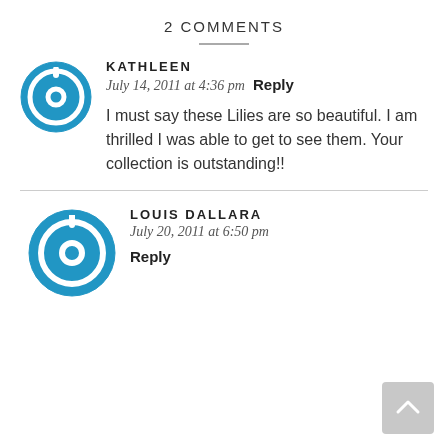2 COMMENTS
KATHLEEN
July 14, 2011 at 4:36 pm  Reply
I must say these Lilies are so beautiful. I am thrilled I was able to get to see them. Your collection is outstanding!!
LOUIS DALLARA
July 20, 2011 at 6:50 pm
Reply